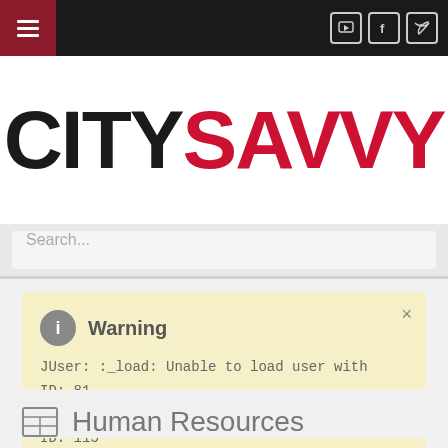[Figure (screenshot): Dark top navigation bar with hamburger menu button on left (dark red background) and social media icons (YouTube, Facebook, Twitter) on right]
CITYSAVVY
Search...
Warning
JUser: :_load: Unable to load user with ID: 81
JUser: :_load: Unable to load user with ID: 115
Human Resources